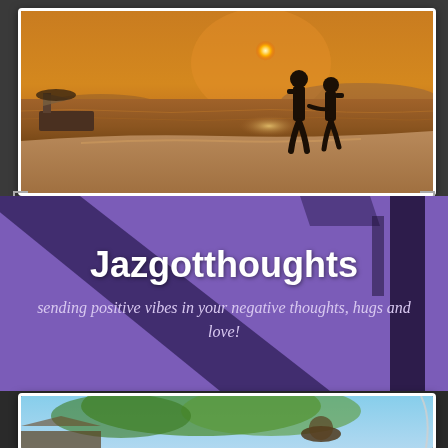[Figure (photo): A couple silhouetted against a golden sunset at the beach, walking hand in hand along the shoreline. A boat is visible on the left side. The image has a warm orange-golden tone.]
Jazgotthoughts
sending positive vibes in your negative thoughts, hugs and love!
[Figure (photo): A blurred outdoor scene showing green trees and what appears to be a person wearing a hat, with architectural elements in the background. The photo is partially visible at the bottom of the page.]